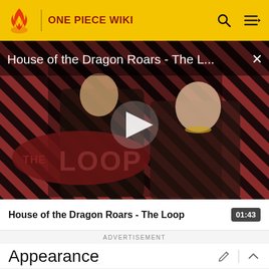ONE PIECE WIKI
[Figure (screenshot): Video thumbnail for 'House of the Dragon Roars - The Loop' showing two characters against a diagonal red and dark striped background with The Loop logo overlay and a play button in the center.]
House of the Dragon Roars - The L...
01:43
ADVERTISEMENT
Appearance